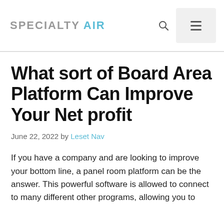SPECIALTY AIR
What sort of Board Area Platform Can Improve Your Net profit
June 22, 2022 by Leset Nav
If you have a company and are looking to improve your bottom line, a panel room platform can be the answer. This powerful software is allowed to connect to many different other programs, allowing you to